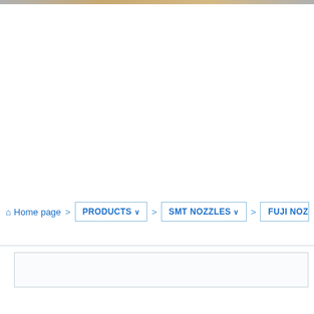[Figure (photo): Top image strip showing machinery or product photos, partially cropped at top of page]
Home page > PRODUCTS ∨ > SMT NOZZLES ∨ > FUJI NOZZ...
Search box area